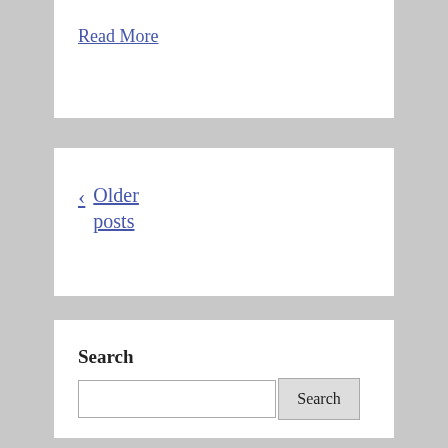Read More
‹ Older posts
Search